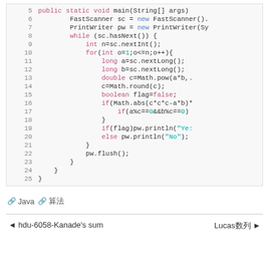[Figure (screenshot): Java source code snippet showing lines 5-25 with syntax highlighting. Keywords in pink/purple, string literals in teal, numbers in teal.]
🔗 Java 🔗 算法
◄ hdu-6058-Kanade's sum    Lucas数列 ►